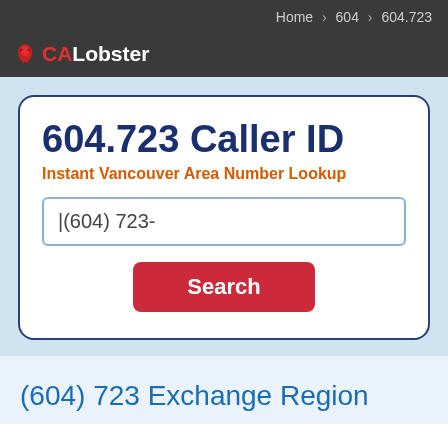Home > 604 > 604.723
CALobster
604.723 Caller ID
Instant Vancouver Area Number Lookup
(604) 723-
Search
(604) 723 Exchange Region